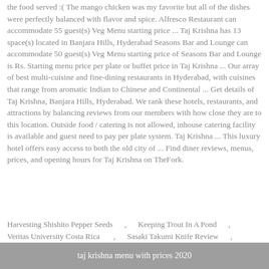the food served :( The mango chicken was my favorite but all of the dishes were perfectly balanced with flavor and spice. Alfresco Restaurant can accommodate 55 guest(s) Veg Menu starting price ... Taj Krishna has 13 space(s) located in Banjara Hills, Hyderabad Seasons Bar and Lounge can accommodate 50 guest(s) Veg Menu starting price of Seasons Bar and Lounge is Rs. Starting menu price per plate or buffet price in Taj Krishna ... Our array of best multi-cuisine and fine-dining restaurants in Hyderabad, with cuisines that range from aromatic Indian to Chinese and Continental ... Get details of Taj Krishna, Banjara Hills, Hyderabad. We rank these hotels, restaurants, and attractions by balancing reviews from our members with how close they are to this location. Outside food / catering is not allowed, inhouse catering facility is available and guest need to pay per plate system. Taj Krishna ... This luxury hotel offers easy access to both the old city of ... Find diner reviews, menus, prices, and opening hours for Taj Krishna on TheFork.
Harvesting Shishito Pepper Seeds , Keeping Trout In A Pond , Veritas University Costa Rica , Sasaki Takumi Knife Review , Pact Coffee Machine ,
taj krishna menu with prices 2020